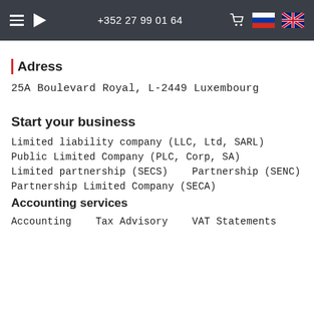+352 27 99 01 64
Adress
25A Boulevard Royal, L-2449 Luxembourg
Start your business
Limited liability company (LLC, Ltd, SARL)
Public Limited Company (PLC, Corp, SA)
Limited partnership (SECS)    Partnership (SENC)
Partnership Limited Company (SECA)
Accounting services
Accounting    Tax Advisory    VAT Statements